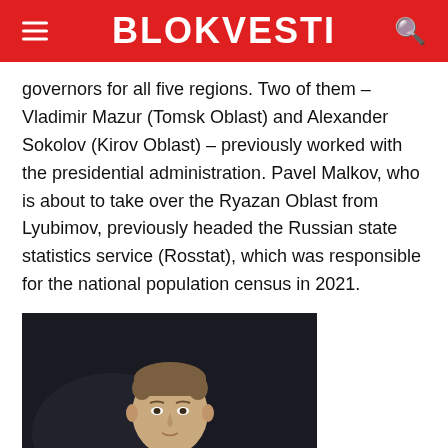BLOKVESTI
governors for all five regions. Two of them – Vladimir Mazur (Tomsk Oblast) and Alexander Sokolov (Kirov Oblast) – previously worked with the presidential administration. Pavel Malkov, who is about to take over the Ryazan Oblast from Lyubimov, previously headed the Russian state statistics service (Rosstat), which was responsible for the national population census in 2021.
[Figure (photo): Portrait photo of a man in a dark suit and tie against a dark background]